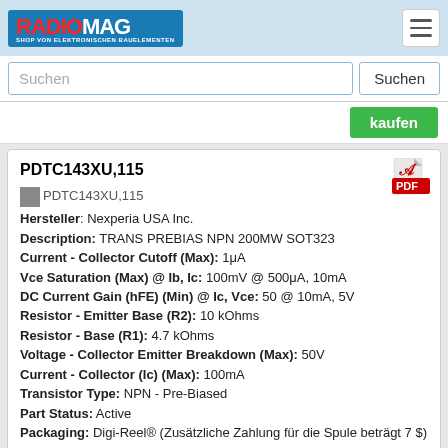[Figure (logo): RADIOMAG logo - blue background with red RADIO and white MAG text, subtitle SHOP VON ELEKTRONISCHEN BAUELEMENTEN]
Suchen | Suchen button
kaufen
PDTC143XU,115
Hersteller: Nexperia USA Inc.
Description: TRANS PREBIAS NPN 200MW SOT323
Current - Collector Cutoff (Max): 1μA
Vce Saturation (Max) @ Ib, Ic: 100mV @ 500μA, 10mA
DC Current Gain (hFE) (Min) @ Ic, Vce: 50 @ 10mA, 5V
Resistor - Emitter Base (R2): 10 kOhms
Resistor - Base (R1): 4.7 kOhms
Voltage - Collector Emitter Breakdown (Max): 50V
Current - Collector (Ic) (Max): 100mA
Transistor Type: NPN - Pre-Biased
Part Status: Active
Packaging: Digi-Reel® (Zusätzliche Zahlung für die Spule beträgt 7 $)
Base Part Number: DTC143
Supplier Device Package: SC-70